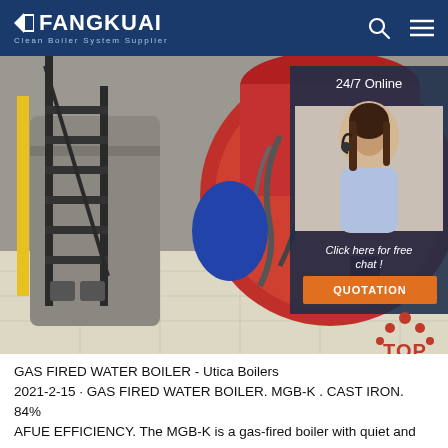FANGKUAI - Clean Boiler System Supplier
[Figure (photo): Industrial boiler room with a large red cylindrical gas-fired boiler, black metal staircase, pipes and hoses, and a clean white tiled floor. Overlay panel on right shows a customer service representative with headset and '24/7 Online', 'Click here for free chat!', and 'QUOTATION' button.]
GAS FIRED WATER BOILER - Utica Boilers
2021-2-15 · GAS FIRED WATER BOILER. MGB-K . CAST IRON. 84% AFUE EFFICIENCY. The MGB-K is a gas-fired boiler with quiet and